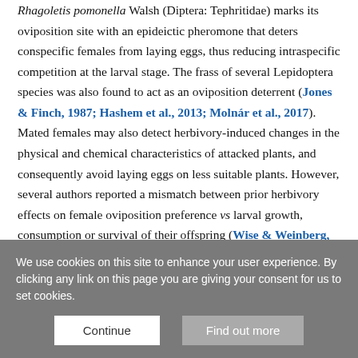Rhagoletis pomonella Walsh (Diptera: Tephritidae) marks its oviposition site with an epideictic pheromone that deters conspecific females from laying eggs, thus reducing intraspecific competition at the larval stage. The frass of several Lepidoptera species was also found to act as an oviposition deterrent (Jones & Finch, 1987; Hashem et al., 2013; Molnár et al., 2017). Mated females may also detect herbivory-induced changes in the physical and chemical characteristics of attacked plants, and consequently avoid laying eggs on less suitable plants. However, several authors reported a mismatch between prior herbivory effects on female oviposition preference vs larval growth, consumption or survival of their offspring (Wise & Weinberg, 2002; Bergamini & Almeida-Neto, 2015; Martinez et al., 2017;
We use cookies on this site to enhance your user experience. By clicking any link on this page you are giving your consent for us to set cookies.